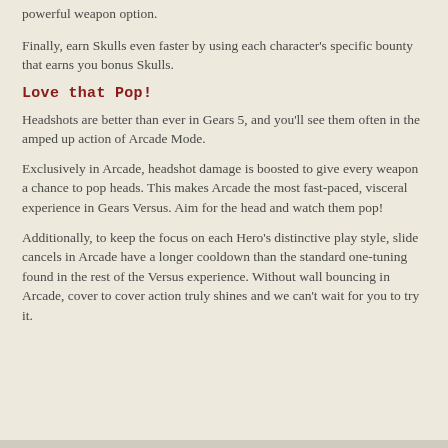powerful weapon option.
Finally, earn Skulls even faster by using each character's specific bounty that earns you bonus Skulls.
Love that Pop!
Headshots are better than ever in Gears 5, and you'll see them often in the amped up action of Arcade Mode.
Exclusively in Arcade, headshot damage is boosted to give every weapon a chance to pop heads. This makes Arcade the most fast-paced, visceral experience in Gears Versus. Aim for the head and watch them pop!
Additionally, to keep the focus on each Hero's distinctive play style, slide cancels in Arcade have a longer cooldown than the standard one-tuning found in the rest of the Versus experience. Without wall bouncing in Arcade, cover to cover action truly shines and we can't wait for you to try it.